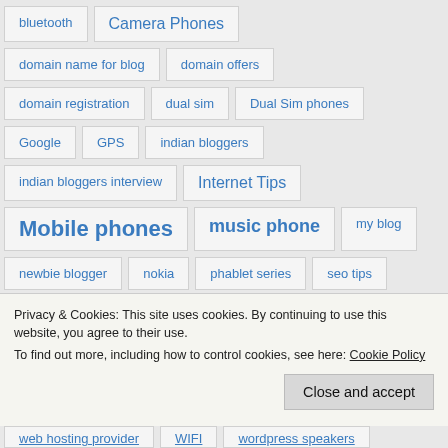bluetooth
Camera Phones
domain name for blog
domain offers
domain registration
dual sim
Dual Sim phones
Google
GPS
indian bloggers
indian bloggers interview
Internet Tips
Mobile phones
music phone
my blog
newbie blogger
nokia
phablet series
seo tips
Privacy & Cookies: This site uses cookies. By continuing to use this website, you agree to their use.
To find out more, including how to control cookies, see here: Cookie Policy
web hosting provider
WIFI
wordpress speakers